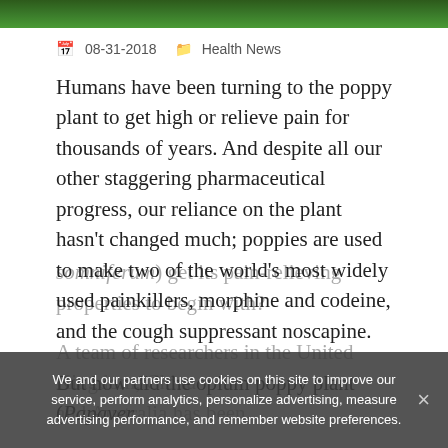[Figure (photo): Cropped top of poppy plant photo, green background visible at top of page]
08-31-2018   Health News
Humans have been turning to the poppy plant to get high or relieve pain for thousands of years. And despite all our other staggering pharmaceutical progress, our reliance on the plant hasn't changed much; poppies are used to make two of the world's most widely used painkillers, morphine and codeine, and the cough suppressant noscapine.
But how did the opium poppy plant (Papaver somniferum) get its pain-relieving properties to begin with?
A team of researchers in the United Kingdom, China and Australia has been...